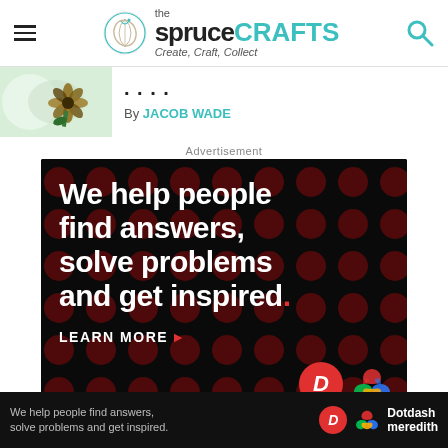the spruce CRAFTS — Create, Craft, Collect
[Figure (photo): Thumbnail image of a floral craft item (dark flower/sunflower shape on light background)]
....
By JACOB WADE
Advertisement
[Figure (infographic): Dotdash Meredith advertisement. Black background with dark red dot pattern. Text: 'We help people find answers, solve problems and get inspired.' with 'LEARN MORE' button and Dotdash Meredith logos.]
[Figure (infographic): Bottom sticky ad bar: 'We help people find answers, solve problems and get inspired.' with Dotdash Meredith logo]